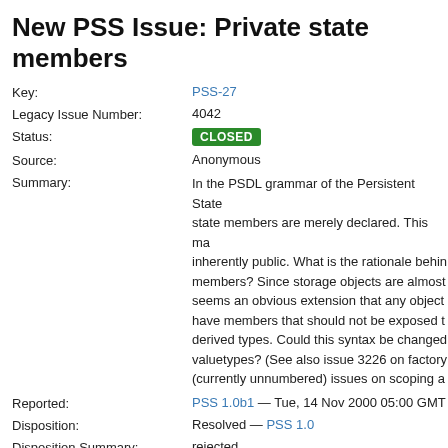New PSS Issue: Private state members
| Field | Value |
| --- | --- |
| Key: | PSS-27 |
| Legacy Issue Number: | 4042 |
| Status: | CLOSED |
| Source: | Anonymous |
| Summary: | In the PSDL grammar of the Persistent State state members are merely declared. This ma inherently public. What is the rationale behin members? Since storage objects are almost seems an obvious extension that any object have members that should not be exposed t derived types. Could this syntax be changed valuetypes? (See also issue 3226 on factory (currently unnumbered) issues on scoping a |
| Reported: | PSS 1.0b1 — Tue, 14 Nov 2000 05:00 GMT |
| Disposition: | Resolved — PSS 1.0 |
| Disposition Summary: | rejected |
| Updated: | Fri, 6 Mar 2015 20:58 GMT |